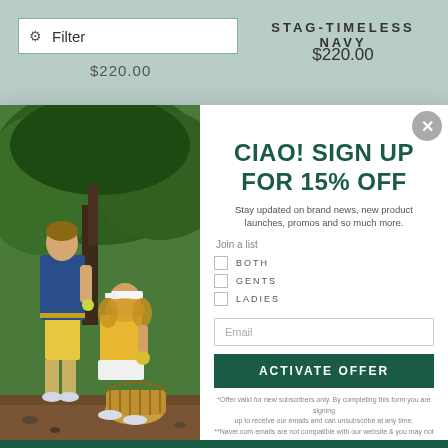Filter
$220.00
STAG-TIMELESS NAVY
$220.00
[Figure (photo): Man and woman in golf/tennis casual wear outdoors near trees. Man wearing blue polo shirt and yellow shorts. Woman in yellow top and white visor.]
CIAO! SIGN UP FOR 15% OFF
Stay updated on brand news, new product launches, promos and so much more.
Join a list
BOTH
GENTS
LADIES
Email
ACTIVATE OFFER
*Offer valid for new subscribers only. By completing this form you are signing up to receive our emails and can unsubscribe at any time. **Naver.com emails are not compatible with our website & you may not receive important emails about your order.